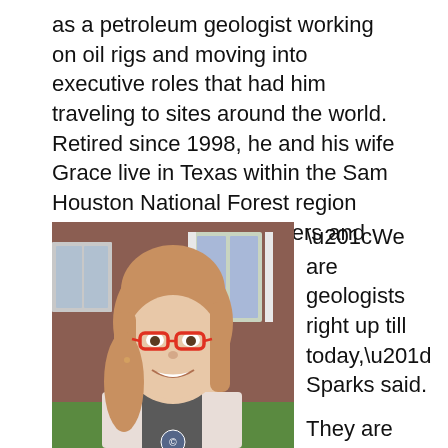as a petroleum geologist working on oil rigs and moving into executive roles that had him traveling to sites around the world. Retired since 1998, he and his wife Grace live in Texas within the Sam Houston National Forest region where they are tree farmers and fossil collectors.
[Figure (photo): Headshot of a young woman with long reddish-blonde hair, wearing red glasses and a light pink blazer, smiling outdoors in front of a brick building with white shuttered windows.]
“We are geologists right up till today,” Sparks said.

They are also steadfast Scarlet loyalists, with a